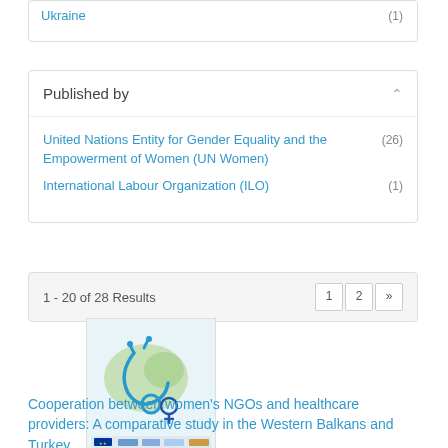Ukraine (1)
Published by
United Nations Entity for Gender Equality and the Empowerment of Women (UN Women) (26)
International Labour Organization (ILO) (1)
1 - 20 of 28 Results
[Figure (illustration): Book cover illustration showing a stethoscope and female symbol on a map background, with logos at bottom]
Cooperation between women's NGOs and healthcare providers: A comparative study in the Western Balkans and Turkey